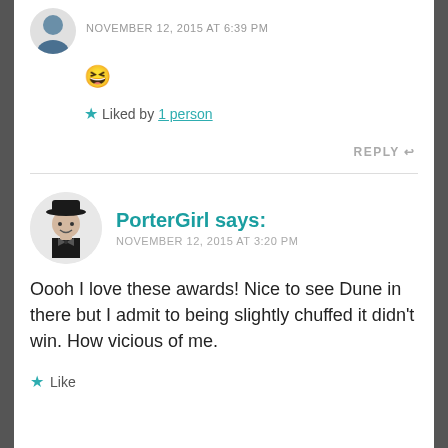[Figure (photo): Partial avatar of previous commenter at top of page]
NOVEMBER 12, 2015 AT 6:39 PM
😆
★ Liked by 1 person
REPLY
[Figure (illustration): PorterGirl avatar: cartoon figure in black bowler hat]
PorterGirl says:
NOVEMBER 12, 2015 AT 3:20 PM
Oooh I love these awards! Nice to see Dune in there but I admit to being slightly chuffed it didn't win. How vicious of me.
★ Like